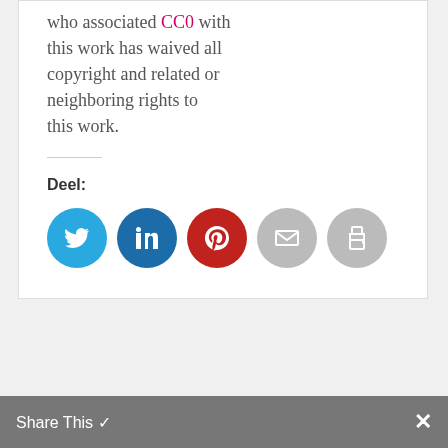who associated CC0 with this work has waived all copyright and related or neighboring rights to this work.
Deel:
[Figure (infographic): Five social share icon circles: Twitter (blue), LinkedIn (dark blue), Pinterest (red), Email (grey), Print (grey)]
Post a Reply
Het e-mailadres wordt niet gepubliceerd. Verplichte velden zijn
Share This ✓  ✕